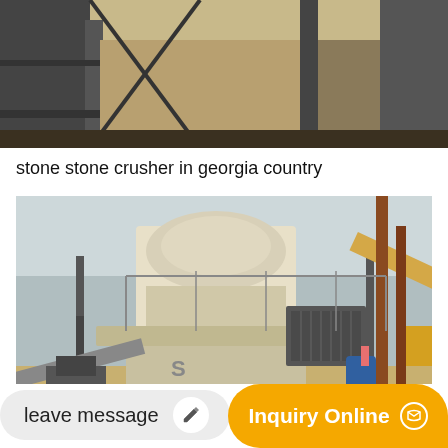[Figure (photo): Top partial photo of stone crusher machinery with metal beams, sand/gravel, and structural steel framework visible.]
stone stone crusher in georgia country
[Figure (photo): Stone crusher machinery (VSI type) elevated on metal structure with conveyor belts, industrial equipment and aggregate material visible at a quarry or crushing site.]
leave message
Inquiry Online